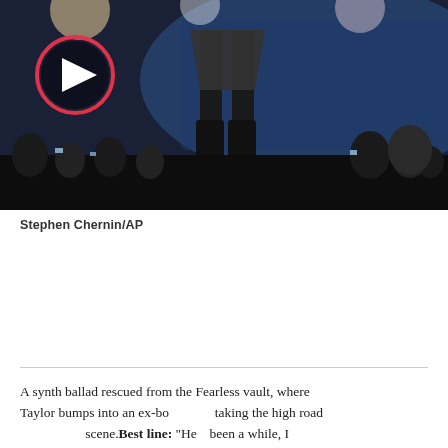[Figure (photo): Concert photo showing a performer on stage with crowd below, dark stadium lighting with blue tones. A red-circled play button overlay is visible in the upper left corner of the image.]
Stephen Chernin/AP
A synth ballad rescued from the Fearless vault, where Taylor bumps into an ex-bo... taking the high road ... scene.Best line: “He... been a while, I didn’...
[Figure (screenshot): Browser not compatible error modal overlay with dark background. Text reads: 'Browser not compatible', 'You may need to update your browser', 'Report ID: 1gaof466n44v97suene'. A close button X is visible in the upper right. The modal partially obscures the article text.]